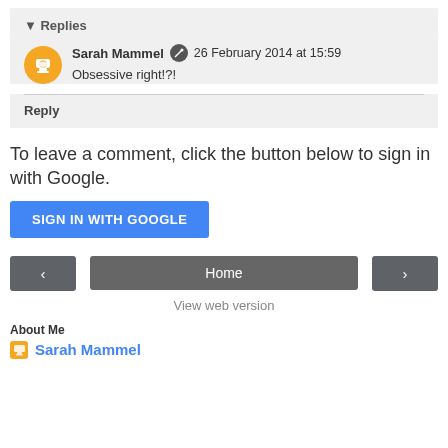▾ Replies
Sarah Mammel  26 February 2014 at 15:59
Obsessive right!?!
Reply
To leave a comment, click the button below to sign in with Google.
SIGN IN WITH GOOGLE
‹   Home   ›
View web version
About Me
Sarah Mammel